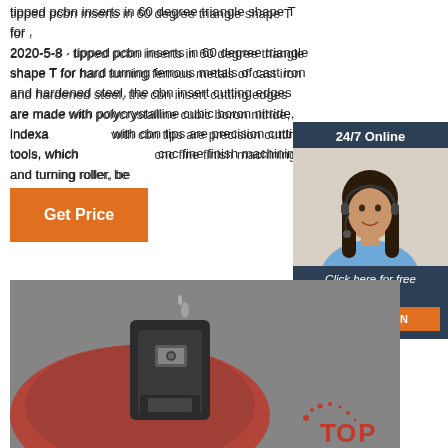tipped pcbn inserts in 60 degree triangle shape T for . 2020-5-8 · tipped pcbn inserts in 60 degree triangle shape T for hard turning ferrous metals of cast iron and hardened steel, the cbn insert cutting edges are made with polycrystalline cubic boron nitride, indexa[ble] with cbn tips are precision cutting tools, which [used for] cnc fine finish machining and turning roller, be[aring]
[Figure (other): Orange 'Get Price' button]
[Figure (other): 24/7 Online chat widget with a woman wearing a headset and text 'Click here for free chat!' with a QUOTATION orange button]
[Figure (photo): Close-up photo of a CNC machining insert/tool holder with a red workpiece, shown in grayscale]